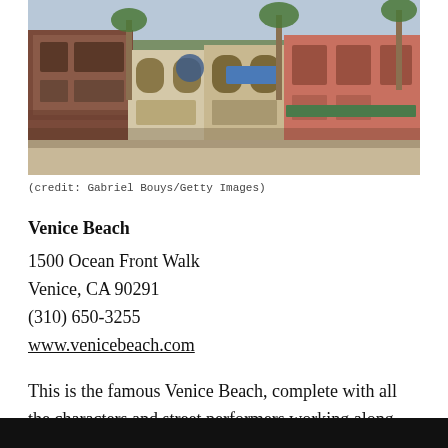[Figure (photo): Street view of Venice Beach boardwalk showing colorful storefronts and buildings with crowds of people in front. Historic brick and stucco buildings with arched windows, palm trees visible.]
(credit: Gabriel Bouys/Getty Images)
Venice Beach
1500 Ocean Front Walk
Venice, CA 90291
(310) 650-3255
www.venicebeach.com
This is the famous Venice Beach, complete with all the characters and street performers working along the boardwalk, an endless source of amazement for